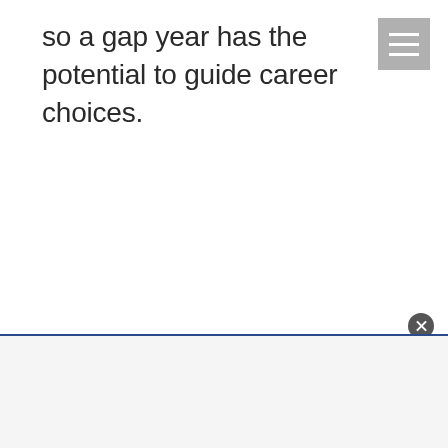so a gap year has the potential to guide career choices.
[Figure (other): Hamburger menu icon button with three horizontal white lines on a grey background, positioned top-right]
[Figure (other): Advertisement box with dark blue top border and a close (x) button, positioned at the bottom of the page]